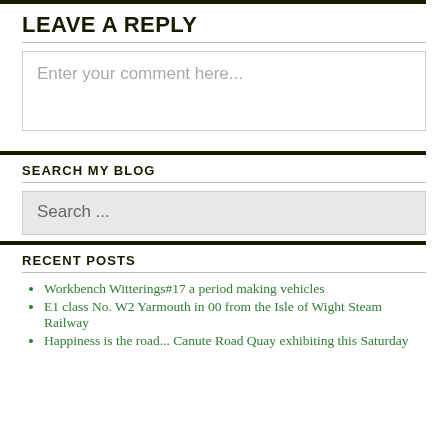LEAVE A REPLY
Enter your comment here...
SEARCH MY BLOG
Search ...
RECENT POSTS
Workbench Witterings#17 a period making vehicles
E1 class No. W2 Yarmouth in 00 from the Isle of Wight Steam Railway
Happiness is the road... Canute Road Quay exhibiting this Saturday